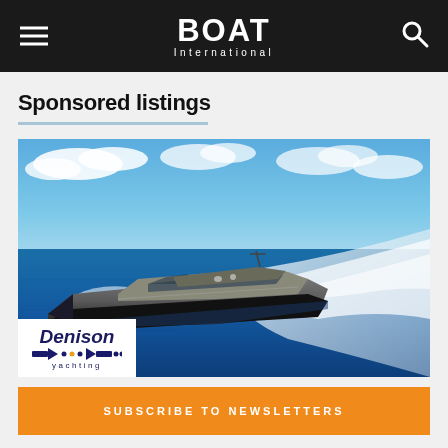BOAT International
Sponsored listings
[Figure (photo): Aerial view of a large luxury motor yacht speeding across blue ocean water, creating white wake spray, with blue sky and clouds above. Denison Yachting logo appears in bottom-left overlay.]
SUBSCRIBE TO NEWSLETTERS